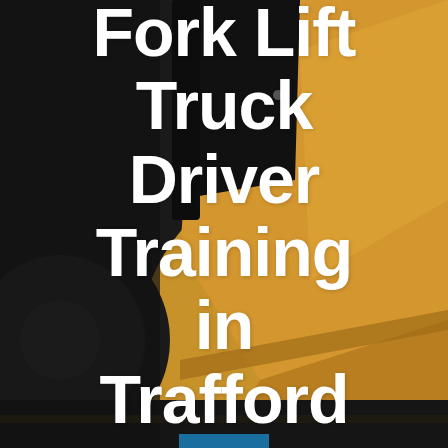[Figure (photo): Close-up photograph of a yellow/gold forklift truck body and wheel against a dark background, viewed from the side/front angle.]
Fork Lift Truck Driver Training in Trafford